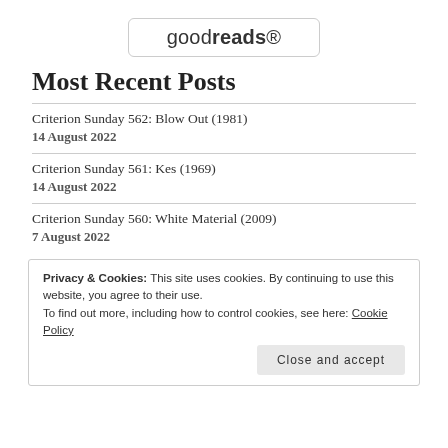[Figure (logo): Goodreads logo in a rounded rectangle border]
Most Recent Posts
Criterion Sunday 562: Blow Out (1981)
14 August 2022
Criterion Sunday 561: Kes (1969)
14 August 2022
Criterion Sunday 560: White Material (2009)
7 August 2022
Privacy & Cookies: This site uses cookies. By continuing to use this website, you agree to their use.
To find out more, including how to control cookies, see here: Cookie Policy
Close and accept